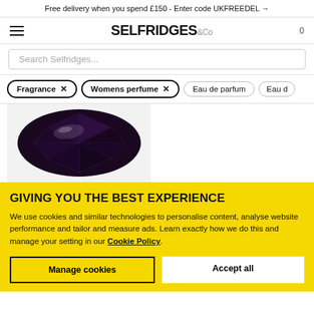Free delivery when you spend £150 - Enter code UKFREEDEL →
[Figure (logo): Selfridges & Co logo with hamburger menu icon and cart icon showing 0]
Search Selfridges...
Fragrance ×
Womens perfume ×
Eau de parfum
Eau d
[Figure (photo): Dark purple/black faceted gemstone (oval cut) on white/grey background]
GIVING YOU THE BEST EXPERIENCE
We use cookies and similar technologies to personalise content, analyse website performance and tailor and measure ads. Learn exactly how we do this and manage your setting in our Cookie Policy.
Manage cookies
Accept all